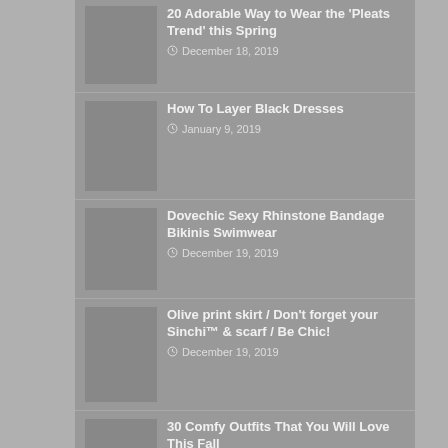20 Adorable Way to Wear the 'Pleats Trend' this Spring
How To Layer Black Dresses
Dovechic Sexy Rhinstone Bandage Bikinis Swimwear
Olive print skirt / Don't forget your Sinchi™ & scarf / Be Chic!
30 Comfy Outfits That You Will Love This Fall
40+ Simple Dots Nail Art Ideas